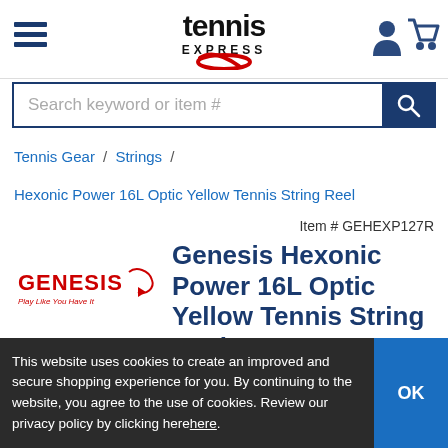[Figure (logo): Tennis Express logo with hamburger menu icon and cart/user icons in header]
Search keyword or item #
Tennis Gear / Strings /
Hexonic Power 16L Optic Yellow Tennis String Reel
Item # GEHEXP127R
[Figure (logo): Genesis brand logo - red and black text with tagline Play Like You Have It]
Genesis Hexonic Power 16L Optic Yellow Tennis String Reel
[Figure (photo): Partial view of a tennis string reel product, yellow/white color]
This website uses cookies to create an improved and secure shopping experience for you. By continuing to the website, you agree to the use of cookies. Review our privacy policy by clicking herehere.